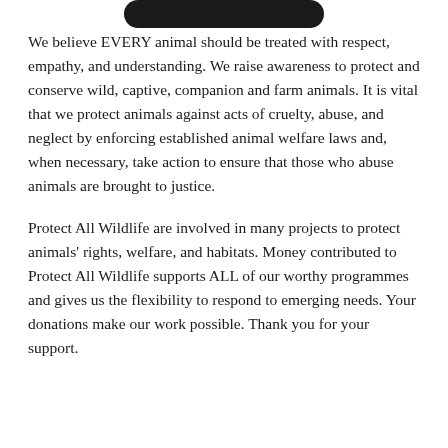[Figure (other): Partial dark rounded rectangle/button at top of page, cropped]
We believe EVERY animal should be treated with respect, empathy, and understanding. We raise awareness to protect and conserve wild, captive, companion and farm animals. It is vital that we protect animals against acts of cruelty, abuse, and neglect by enforcing established animal welfare laws and, when necessary, take action to ensure that those who abuse animals are brought to justice.
Protect All Wildlife are involved in many projects to protect animals' rights, welfare, and habitats. Money contributed to Protect All Wildlife supports ALL of our worthy programmes and gives us the flexibility to respond to emerging needs. Your donations make our work possible. Thank you for your support.